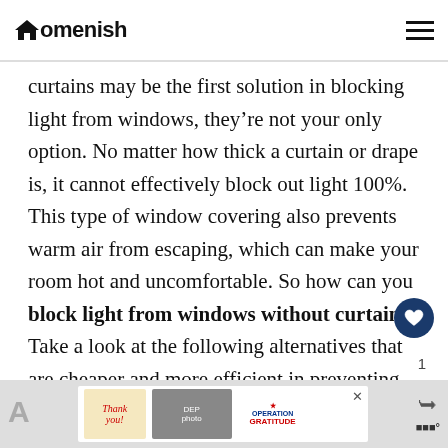Homenish
curtains may be the first solution in blocking light from windows, they’re not your only option. No matter how thick a curtain or drape is, it cannot effectively block out light 100%. This type of window covering also prevents warm air from escaping, which can make your room hot and uncomfortable. So how can you block light from windows without curtains? Take a look at the following alternatives that are cheaper and more efficient in preventing light from entering your room.
[Figure (infographic): Advertisement banner: Operation Gratitude thank you campaign with firefighters photo]
1